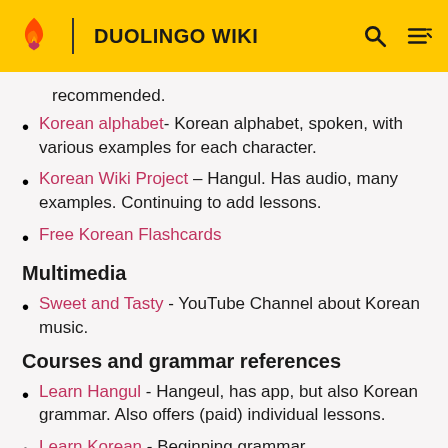DUOLINGO WIKI
recommended.
Korean alphabet - Korean alphabet, spoken, with various examples for each character.
Korean Wiki Project – Hangul. Has audio, many examples. Continuing to add lessons.
Free Korean Flashcards
Multimedia
Sweet and Tasty - YouTube Channel about Korean music.
Courses and grammar references
Learn Hangul - Hangeul, has app, but also Korean grammar. Also offers (paid) individual lessons.
Learn Korean - Beginning grammar.
Learn Korean for Beginners – Beginning grammar. Can